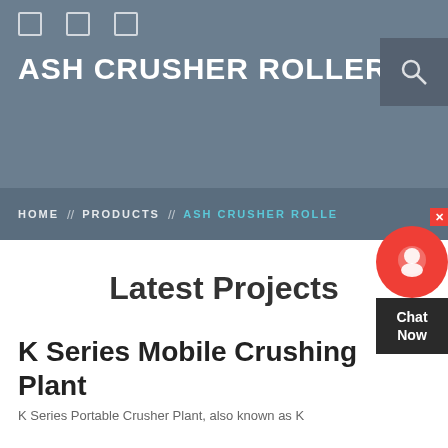ASH CRUSHER ROLLER
HOME // PRODUCTS // ASH CRUSHER ROLLE
[Figure (screenshot): Chat Now widget with red circular icon and dark label]
Latest Projects
K Series Mobile Crushing Plant
K Series Portable Crusher Plant, also known as K